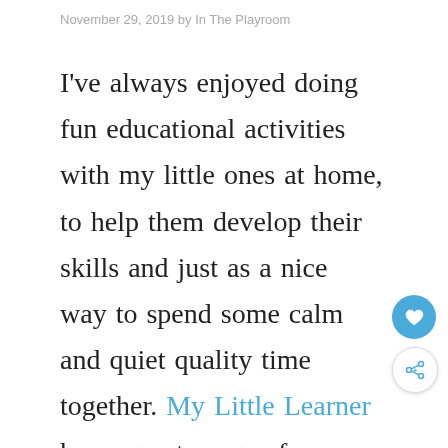November 29, 2019 by In The Playroom
I've always enjoyed doing fun educational activities with my little ones at home, to help them develop their skills and just as a nice way to spend some calm and quiet quality time together. My Little Learner has a great range of products that make it easy to